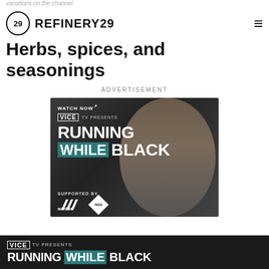variations on the channel
REFINERY29
Herbs, spices, and seasonings
ADVERTISEMENT
[Figure (photo): Advertisement for VICE TV Presents Running While Black, showing a smiling Black woman runner wearing a bandana headband and earbuds, with text: WATCH NOW, VICE TV PRESENTS, RUNNING WHILE BLACK, SUPPORTED BY adidas and RDS logo]
[Figure (photo): Bottom banner advertisement for VICE TV Presents Running While Black showing text and a male runner]